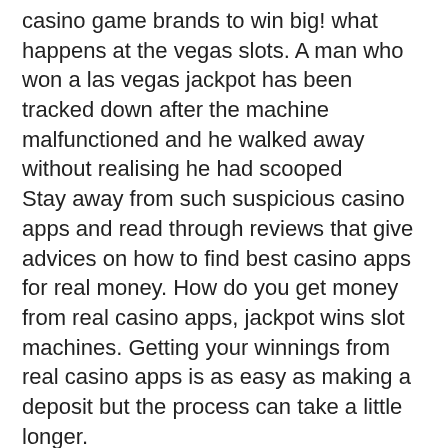casino game brands to win big! what happens at the vegas slots. A man who won a las vegas jackpot has been tracked down after the machine malfunctioned and he walked away without realising he had scooped
Stay away from such suspicious casino apps and read through reviews that give advices on how to find best casino apps for real money. How do you get money from real casino apps, jackpot wins slot machines. Getting your winnings from real casino apps is as easy as making a deposit but the process can take a little longer.
BTC casino winners:
Graffiti Block Pays - 530.6 btc
Roman Legion - 287.7 usdt
Spin Sorceress - 656.2 btc
Jack O'Lantern Vs the Headless
Horseman - 4.6 btc